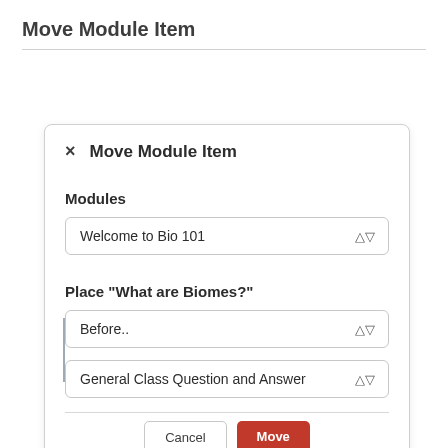Move Module Item
[Figure (screenshot): A modal dialog titled 'Move Module Item' with a close (×) button. Contains a 'Modules' dropdown showing 'Welcome to Bio 101', a 'Place "What are Biomes?"' section with a 'Before..' dropdown and a second dropdown showing 'General Class Question and Answer' connected by a bracket/arrow. At the bottom are Cancel and Move buttons.]